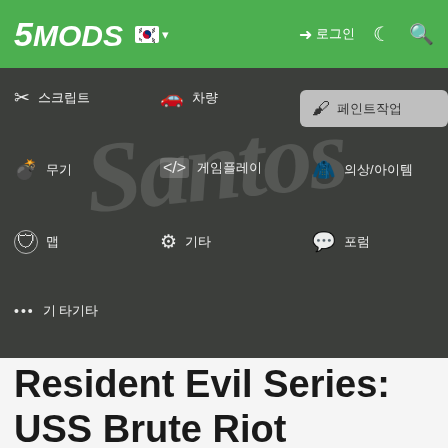5MODS — navigation header bar with Korean flag, login link, dark mode toggle, and search icon
[Figure (screenshot): Navigation menu overlay on dark GTA V background showing Santos text. Menu items in Korean: 스크립트, 차량, 페인트작업(highlighted), 무기, 게임플레이, 의상/아이템, 맵, 기타, 포럼, 기타 기타]
Resident Evil Series: USS Brute Riot